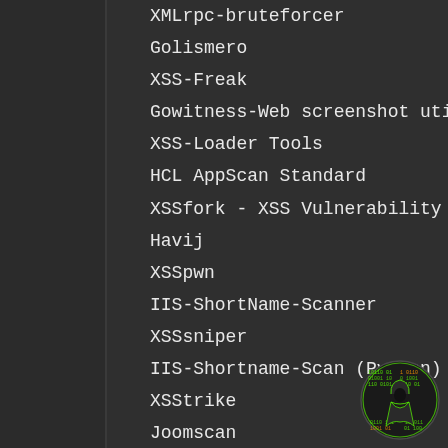XMLrpc-bruteforcer
Golismero
XSS-Freak
Gowitness-Web screenshot utility
XSS-Loader Tools
HCL AppScan Standard
XSSfork - XSS Vulnerability Scan
Havij
XSSpwn
IIS-ShortName-Scanner
XSSsniper
IIS-Shortname-Scan (Python)
XSStrike
Joomscan
XSpear-XSS Scanning
Link JS Find - Extract URL Websites
dotdotpwn - Directory Traversal
Fuzzer
LinkFinder
[Figure (logo): Circular logo with green matrix-style binary numbers and a hooded figure silhouette on dark background]